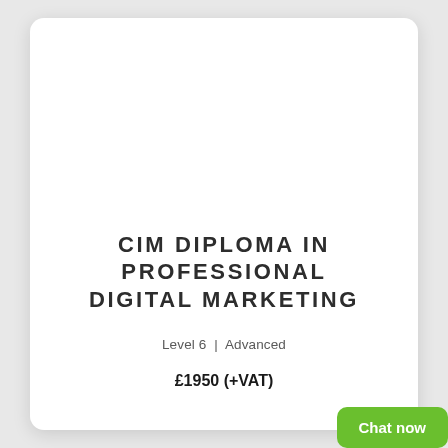CIM DIPLOMA IN PROFESSIONAL DIGITAL MARKETING
Level 6 | Advanced
£1950 (+VAT)
Chat now